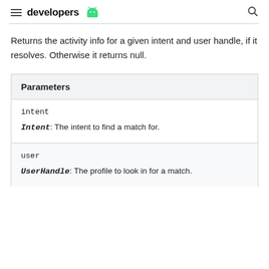developers [android logo]
Returns the activity info for a given intent and user handle, if it resolves. Otherwise it returns null.
| Parameters |
| --- |
| intent | Intent: The intent to find a match for. |
| user | UserHandle: The profile to look in for a match. |